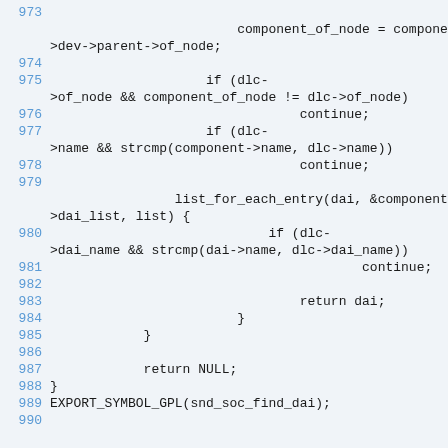[Figure (screenshot): Source code listing showing lines 973-990 of a C file with line numbers in blue on a light gray background. The code shows a function body with list iteration, string comparisons, and return statements related to snd_soc_find_dai.]